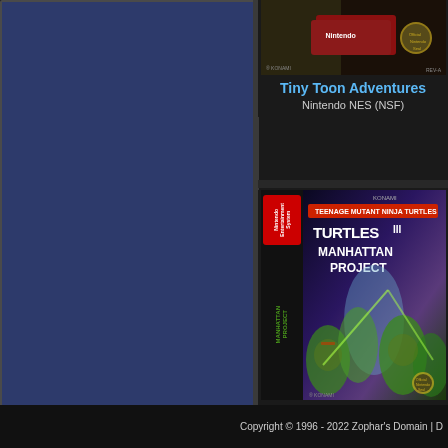[Figure (screenshot): Dark blue sidebar panel on the left side of the page]
[Figure (photo): Tiny Toon Adventures NES cartridge box art image at top right]
Tiny Toon Adventures
Nintendo NES (NSF)
[Figure (photo): Teenage Mutant Ninja Turtles III - The Manhattan Project NES box art with spine showing Nintendo Entertainment System label and KONAMI logo]
Teenage Mutant Ninja Turtles III - The Manhattan Project
Nintendo NES (NSF)
Copyright © 1996 - 2022 Zophar's Domain | D